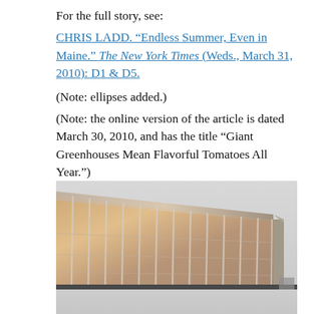For the full story, see:
CHRIS LADD. “Endless Summer, Even in Maine.” The New York Times (Weds., March 31, 2010): D1 & D5.
(Note: ellipses added.)
(Note: the online version of the article is dated March 30, 2010, and has the title “Giant Greenhouses Mean Flavorful Tomatoes All Year.”)
[Figure (photo): Exterior view of a large greenhouse structure with translucent panels reflecting warm light, photographed in winter with snow on the ground and an overcast sky.]